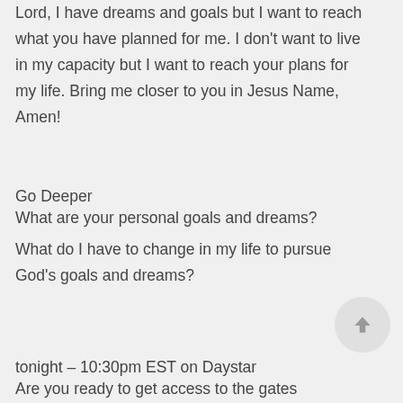Lord, I have dreams and goals but I want to reach what you have planned for me. I don't want to live in my capacity but I want to reach your plans for my life. Bring me closer to you in Jesus Name, Amen!
Go Deeper
What are your personal goals and dreams?
What do I have to change in my life to pursue God's goals and dreams?
tonight – 10:30pm EST on Daystar
Are you ready to get access to the gates